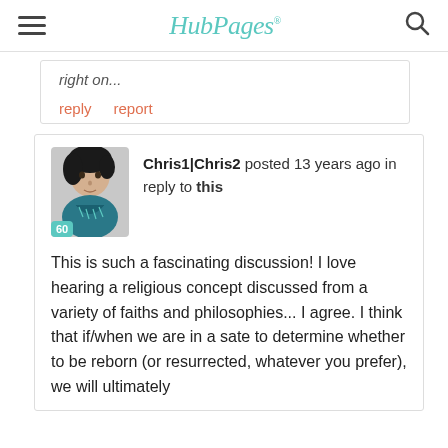HubPages
right on...
reply   report
Chris1|Chris2 posted 13 years ago in reply to this
This is such a fascinating discussion! I love hearing a religious concept discussed from a variety of faiths and philosophies... I agree. I think that if/when we are in a sate to determine whether to be reborn (or resurrected, whatever you prefer), we will ultimately